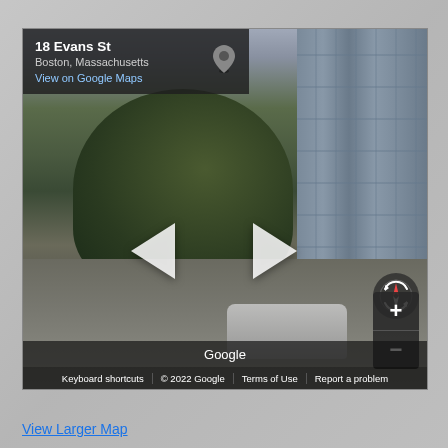[Figure (screenshot): Google Street View screenshot of 18 Evans St, Boston, Massachusetts. Shows a street-level view with trees in the center, a multi-story blue/gray building on the right, a car parked at lower right, navigation arrows (left and right chevrons) in the lower center, a compass widget, zoom controls, Google branding bar, and a bottom links bar with Keyboard shortcuts, © 2022 Google, Terms of Use, and Report a problem.]
View Larger Map